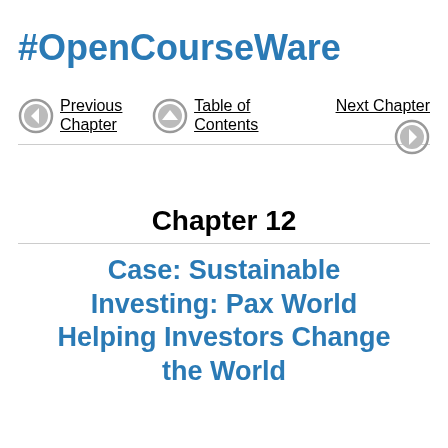#OpenCourseWare
Previous Chapter | Table of Contents | Next Chapter
Chapter 12
Case: Sustainable Investing: Pax World Helping Investors Change the World